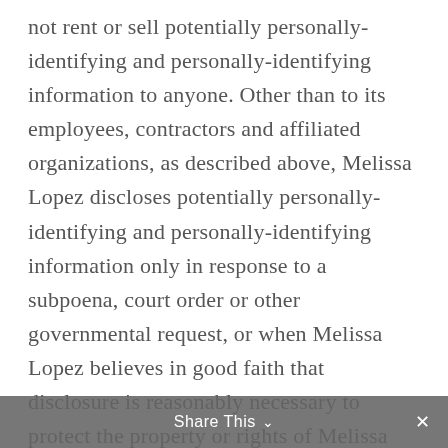not rent or sell potentially personally-identifying and personally-identifying information to anyone. Other than to its employees, contractors and affiliated organizations, as described above, Melissa Lopez discloses potentially personally-identifying and personally-identifying information only in response to a subpoena, court order or other governmental request, or when Melissa Lopez believes in good faith that disclosure is reasonably necessary to protect the property or rights of Melissa Lopez, third parties or the public at large. If you are a registered user of an Melissa Lopez website and have supplied your email address, Melissa Lopez may occasionally
Share This